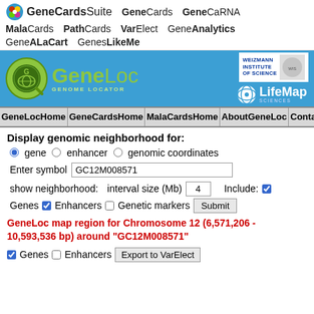GeneCardsSuite GeneCards GeneCaRNA MalaCards PathCards VarElect GeneAnalytics GeneALaCart GenesLikeMe
[Figure (screenshot): GeneCards Suite navigation logo and product links header bar]
[Figure (logo): GeneLoc Genome Locator banner with Weizmann Institute and LifeMap Sciences logos]
GeneLocHome | GeneCardsHome | MalaCardsHome | AboutGeneLoc | ContactUs
Display genomic neighborhood for:
gene   enhancer   genomic coordinates
Enter symbol  GC12M008571
show neighborhood:   interval size (Mb)  4   Include:  Genes  Enhancers  Genetic markers  Submit
GeneLoc map region for Chromosome 12 (6,571,206 - 10,593,536 bp) around "GC12M008571"
Genes  Enhancers  Export to VarElect